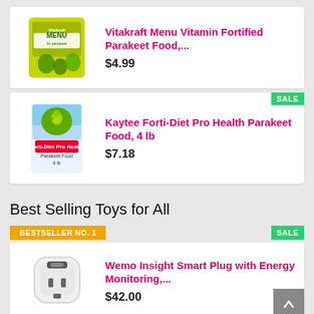[Figure (photo): Vitakraft Menu bird food bag product image]
Vitakraft Menu Vitamin Fortified Parakeet Food,...
$4.99
SALE
[Figure (photo): Kaytee Forti-Diet Pro Health Parakeet Food bag product image]
Kaytee Forti-Diet Pro Health Parakeet Food, 4 lb
$7.18
Best Selling Toys for All
BESTSELLER NO. 1
SALE
[Figure (photo): Wemo Insight Smart Plug product image]
Wemo Insight Smart Plug with Energy Monitoring,...
$42.00
BESTSELLER NO. 2
SALE